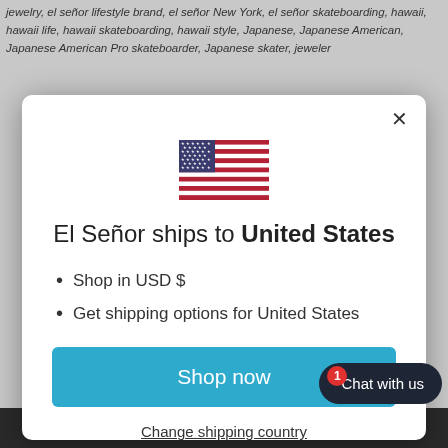jewelry, el señor lifestyle brand, el señor New York, el señor skateboarding, hawaii, hawaii life, hawaii skateboarding, hawaii style, Japanese, Japanese American, Japanese American Pro skateboarder, Japanese skater, jeweler
[Figure (screenshot): Modal dialog showing US flag and shipping information for El Señor]
El Señor ships to United States
Shop in USD $
Get shipping options for United States
Shop now
Change shipping country
Chat with us